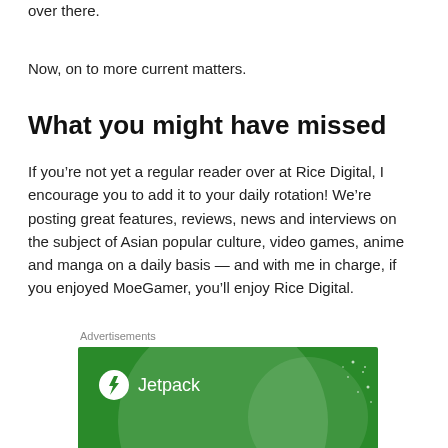over there.
Now, on to more current matters.
What you might have missed
If you’re not yet a regular reader over at Rice Digital, I encourage you to add it to your daily rotation! We’re posting great features, reviews, news and interviews on the subject of Asian popular culture, video games, anime and manga on a daily basis — and with me in charge, if you enjoyed MoeGamer, you’ll enjoy Rice Digital.
Advertisements
[Figure (infographic): Jetpack advertisement banner with green background, Jetpack logo with lightning bolt icon, and text 'The best real-time']